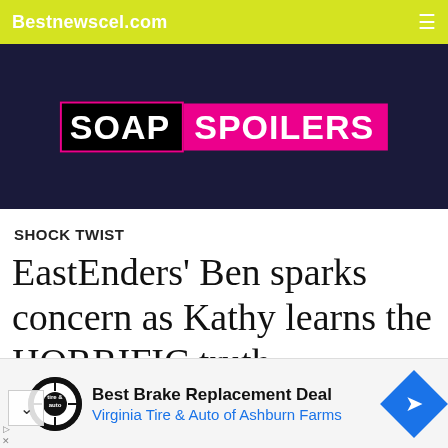Bestnewscel.com
[Figure (screenshot): Soap Spoilers logo on dark background — black box with 'SOAP' in white bold text, pink box with 'SPOILERS' in white bold text]
SHOCK TWIST
EastEnders' Ben sparks concern as Kathy learns the HORRIFIC truth
[Figure (photo): Two-panel photo strip: left panel shows outdoor brick building scene with blonde person in foreground, right panel shows indoor scene with flowers]
Best Brake Replacement Deal
Virginia Tire & Auto of Ashburn Farms